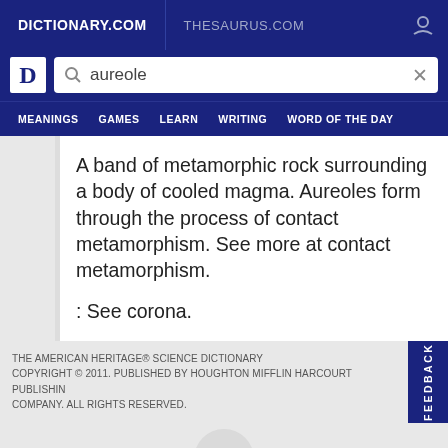DICTIONARY.COM   THESAURUS.COM
[Figure (screenshot): Dictionary.com search bar with 'aureole' query]
MEANINGS   GAMES   LEARN   WRITING   WORD OF THE DAY
A band of metamorphic rock surrounding a body of cooled magma. Aureoles form through the process of contact metamorphism. See more at contact metamorphism.
: See corona.
THE AMERICAN HERITAGE® SCIENCE DICTIONARY COPYRIGHT © 2011. PUBLISHED BY HOUGHTON MIFFLIN HARCOURT PUBLISHING COMPANY. ALL RIGHTS RESERVED.